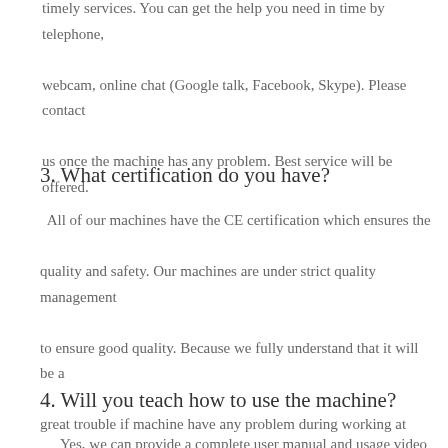timely services. You can get the help you need in time by telephone, webcam, online chat (Google talk, Facebook, Skype). Please contact us once the machine has any problem. Best service will be offered.
3. What certification do you have?
All of our machines have the CE certification which ensures the quality and safety. Our machines are under strict quality management to ensure good quality. Because we fully understand that it will be a great trouble if machine have any problem during working at oversea.
4. Will you teach how to use the machine?
Yes, we can provide a complete user manual and usage video for